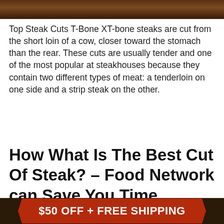[Figure (photo): Top portion of a food/steak image, dark brown tones]
Top Steak Cuts T-Bone XT-bone steaks are cut from the short loin of a cow, closer toward the stomach than the rear. These cuts are usually tender and one of the most popular at steakhouses because they contain two different types of meat: a tenderloin on one side and a strip steak on the other.
How What Is The Best Cut Of Steak? – Food Network can Save You Time, Stress, and Money.
[Figure (photo): Bottom banner image with dark background and orange/red ribbon banner reading '$50 OFF + FREE SHIPPING']